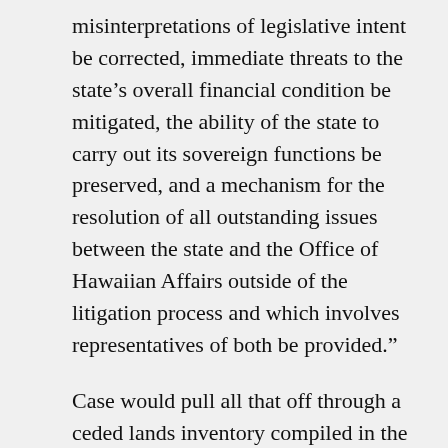misinterpretations of legislative intent be corrected, immediate threats to the state’s overall financial condition be mitigated, the ability of the state to carry out its sovereign functions be preserved, and a mechanism for the resolution of all outstanding issues between the state and the Office of Hawaiian Affairs outside of the litigation process and which involves representatives of both be provided.”
Case would pull all that off through a ceded lands inventory compiled in the state’s favor by the Department of Land and Natural Resources, a basis that excludes many lucrative sources of income, fixed income to OHA far below the